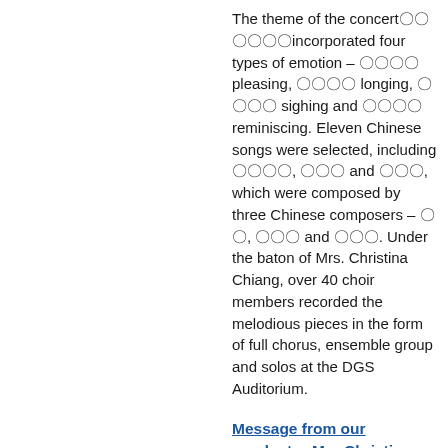The theme of the concert〓〓 〓〓〓〓incorporated four types of emotion – 〓〓〓〓 pleasing, 〓〓〓〓 longing, 〓〓〓〓 sighing and 〓〓〓〓 reminiscing. Eleven Chinese songs were selected, including 〓〓〓〓, 〓〓〓 and 〓〓〓, which were composed by three Chinese composers – 〓〓, 〓〓〓 and 〓〓〓. Under the baton of Mrs. Christina Chiang, over 40 choir members recorded the melodious pieces in the form of full chorus, ensemble group and solos at the DGS Auditorium.
Message from our conductor Mrs Christina